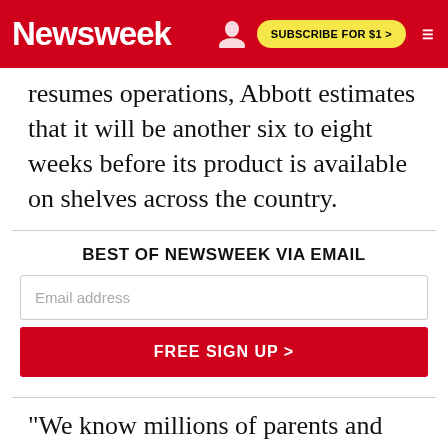Newsweek | SUBSCRIBE FOR $1 >
resumes operations, Abbott estimates that it will be another six to eight weeks before its product is available on shelves across the country.
BEST OF NEWSWEEK VIA EMAIL
Email address
FREE SIGN UP >
"We know millions of parents and caregivers